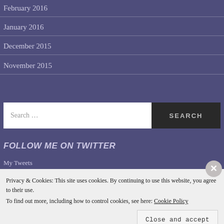February 2016
January 2016
December 2015
November 2015
Search ...
FOLLOW ME ON TWITTER
My Tweets
Privacy & Cookies: This site uses cookies. By continuing to use this website, you agree to their use.
To find out more, including how to control cookies, see here: Cookie Policy
Close and accept
Follow ...